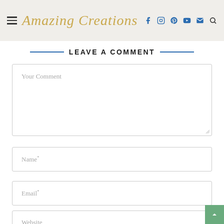Amazing Creations — navigation header with hamburger menu, logo, social icons (Facebook, Instagram, Pinterest, YouTube, Email) and search
LEAVE A COMMENT
Your Comment
Name*
Email*
Website